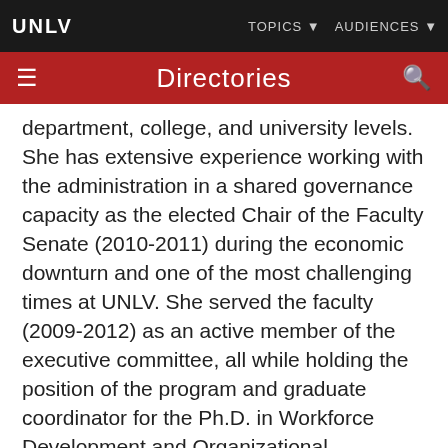UNLV  TOPICS  AUDIENCES
Directories
department, college, and university levels. She has extensive experience working with the administration in a shared governance capacity as the elected Chair of the Faculty Senate (2010-2011) during the economic downturn and one of the most challenging times at UNLV. She served the faculty (2009-2012) as an active member of the executive committee, all while holding the position of the program and graduate coordinator for the Ph.D. in Workforce Development and Organizational Leadership.

Maldonado is generally drawn to work geared at improving the organizational culture and climate of the campus and the work life of faculty. As